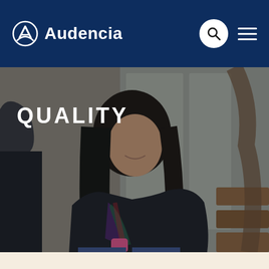Audencia
[Figure (photo): A smiling young woman wearing a black leather jacket and a colorful plaid scarf, sitting in what appears to be a university campus interior with glass doors and wooden furniture in the background.]
QUALITY